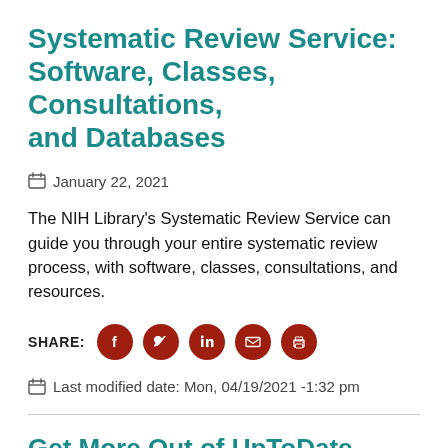Systematic Review Service: Software, Classes, Consultations, and Databases
January 22, 2021
The NIH Library's Systematic Review Service can guide you through your entire systematic review process, with software, classes, consultations, and resources.
SHARE:
Last modified date: Mon, 04/19/2021 -1:32 pm
Get More Out of UpToDate